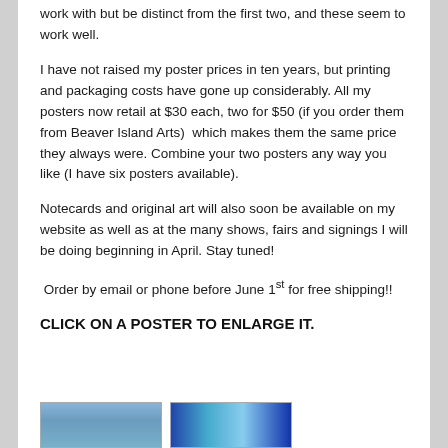work with but be distinct from the first two, and these seem to work well.
I have not raised my poster prices in ten years, but printing and packaging costs have gone up considerably. All my posters now retail at $30 each, two for $50 (if you order them from Beaver Island Arts)  which makes them the same price they always were. Combine your two posters any way you like (I have six posters available).
Notecards and original art will also soon be available on my website as well as at the many shows, fairs and signings I will be doing beginning in April. Stay tuned!
Order by email or phone before June 1st for free shipping!!
CLICK ON A POSTER TO ENLARGE IT.
[Figure (photo): Two small poster thumbnail images at the bottom of the page]